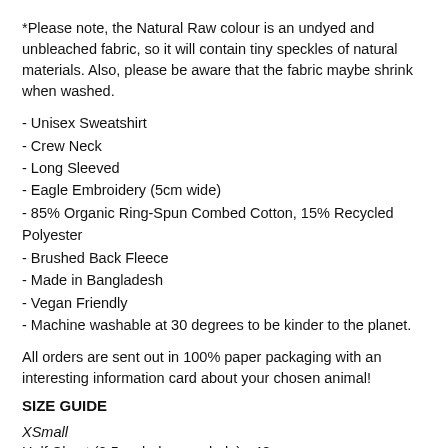*Please note, the Natural Raw colour is an undyed and unbleached fabric, so it will contain tiny speckles of natural materials. Also, please be aware that the fabric maybe shrink when washed.
- Unisex Sweatshirt
- Crew Neck
- Long Sleeved
- Eagle Embroidery (5cm wide)
- 85% Organic Ring-Spun Combed Cotton, 15% Recycled Polyester
- Brushed Back Fleece
- Made in Bangladesh
- Vegan Friendly
- Machine washable at 30 degrees to be kinder to the planet.
All orders are sent out in 100% paper packaging with an interesting information card about your chosen animal!
SIZE GUIDE
XSmall
Half Chest (2.5cm below armhole) - 48cm